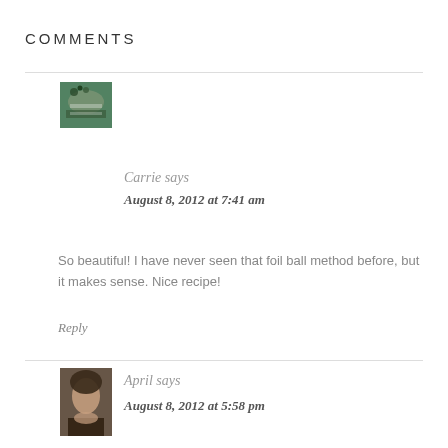COMMENTS
[Figure (photo): Avatar photo of Carrie showing a layered cake with berries]
Carrie says
August 8, 2012 at 7:41 am
So beautiful! I have never seen that foil ball method before, but it makes sense. Nice recipe!
Reply
[Figure (photo): Avatar photo of April showing a woman with dark hair]
April says
August 8, 2012 at 5:58 pm